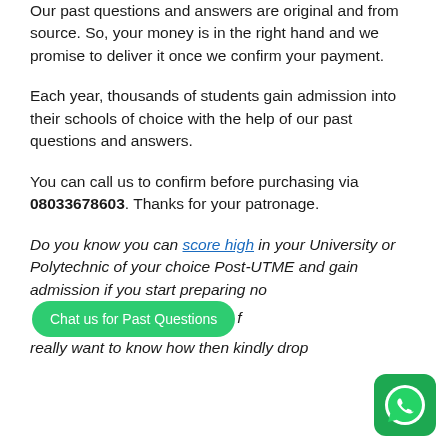Our past questions and answers are original and from source. So, your money is in the right hand and we promise to deliver it once we confirm your payment.
Each year, thousands of students gain admission into their schools of choice with the help of our past questions and answers.
You can call us to confirm before purchasing via 08033678603. Thanks for your patronage.
Do you know you can score high in your University or Polytechnic of your choice Post-UTME and gain admission if you start preparing now... [Chat us for Past Questions] ...if you really want to know how then kindly drop